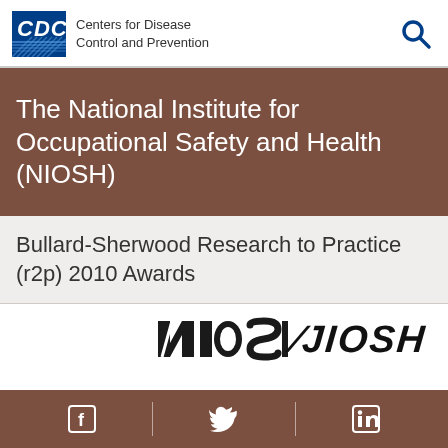Centers for Disease Control and Prevention
The National Institute for Occupational Safety and Health (NIOSH)
Bullard-Sherwood Research to Practice (r2p) 2010 Awards
[Figure (logo): NIOSH logo in black bold italic text]
Social media icons: Facebook, Twitter, LinkedIn